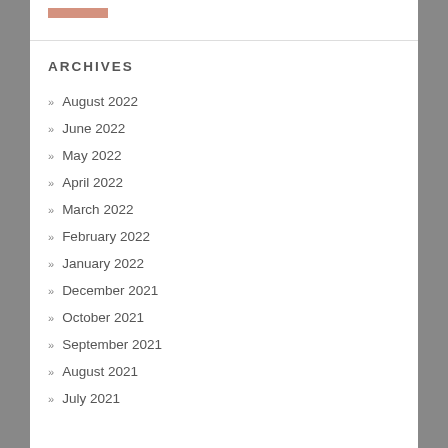ARCHIVES
August 2022
June 2022
May 2022
April 2022
March 2022
February 2022
January 2022
December 2021
October 2021
September 2021
August 2021
July 2021